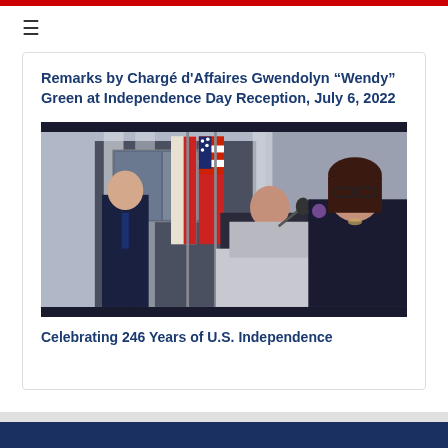Remarks by Chargé d'Affaires Gwendolyn “Wendy” Green at Independence Day Reception, July 6, 2022
[Figure (photo): Photo of Chargé d'Affaires Gwendolyn Green speaking at a podium at the Independence Day Reception, with US and Maltese flags behind her and two men standing to her left.]
Celebrating 246 Years of U.S. Independence